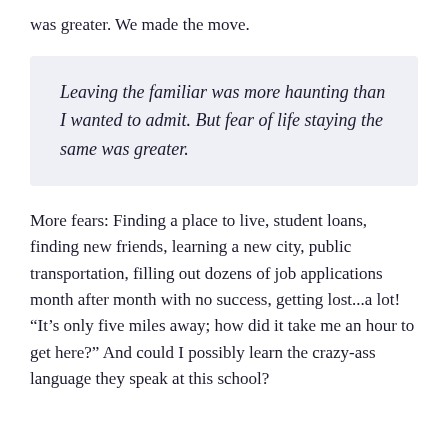was greater. We made the move.
Leaving the familiar was more haunting than I wanted to admit. But fear of life staying the same was greater.
More fears: Finding a place to live, student loans, finding new friends, learning a new city, public transportation, filling out dozens of job applications month after month with no success, getting lost...a lot! “It’s only five miles away; how did it take me an hour to get here?” And could I possibly learn the crazy-ass language they speak at this school?